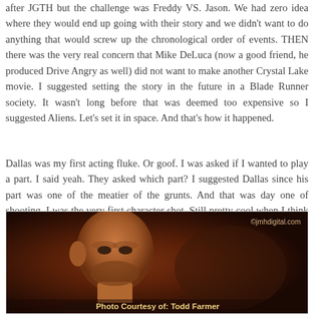after JGTH but the challenge was Freddy VS. Jason. We had zero idea where they would end up going with their story and we didn't want to do anything that would screw up the chronological order of events. THEN there was the very real concern that Mike DeLuca (now a good friend, he produced Drive Angry as well) did not want to make another Crystal Lake movie. I suggested setting the story in the future in a Blade Runner society. It wasn't long before that was deemed too expensive so I suggested Aliens. Let's set it in space. And that's how it happened.
Dallas was my first acting fluke. Or goof. I was asked if I wanted to play a part. I said yeah. They asked which part? I suggested Dallas since his part was one of the meatier of the grunts. And that was day one of shooting. I was the very first character shot. Still pretty cool when I think back on it.
[Figure (photo): A photo of a bald man with a beard, appearing in dark warm orange/red lighting. Watermark reads ©jmhdigital.com. Caption at bottom reads 'Photo Courtesy of: Todd Farmer'.]